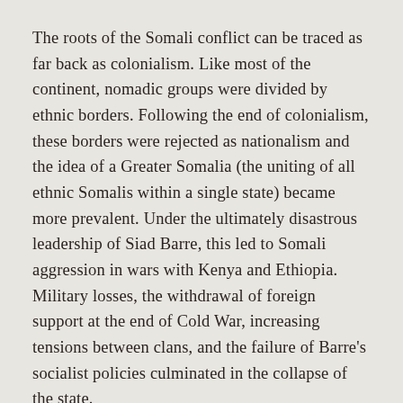The roots of the Somali conflict can be traced as far back as colonialism. Like most of the continent, nomadic groups were divided by ethnic borders. Following the end of colonialism, these borders were rejected as nationalism and the idea of a Greater Somalia (the uniting of all ethnic Somalis within a single state) became more prevalent. Under the ultimately disastrous leadership of Siad Barre, this led to Somali aggression in wars with Kenya and Ethiopia. Military losses, the withdrawal of foreign support at the end of Cold War, increasing tensions between clans, and the failure of Barre's socialist policies culminated in the collapse of the state.
There has been little improvement in the last decade. International attention turned elsewhere following the failed intervention in 1993. When the US withdrew its support of UNOSOM the UN was unable to sustain the mission, and although it has retained a security presence, it